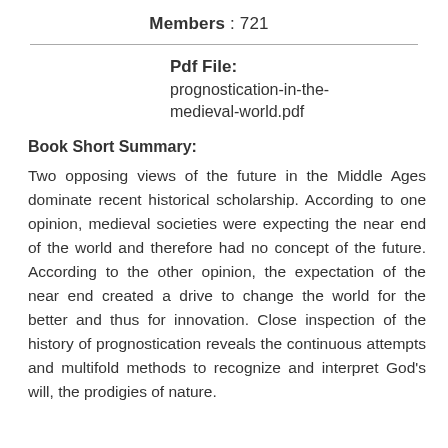Members : 721
Pdf File: prognostication-in-the-medieval-world.pdf
Book Short Summary:
Two opposing views of the future in the Middle Ages dominate recent historical scholarship. According to one opinion, medieval societies were expecting the near end of the world and therefore had no concept of the future. According to the other opinion, the expectation of the near end created a drive to change the world for the better and thus for innovation. Close inspection of the history of prognostication reveals the continuous attempts and multifold methods to recognize and interpret God's will, the prodigies of nature.